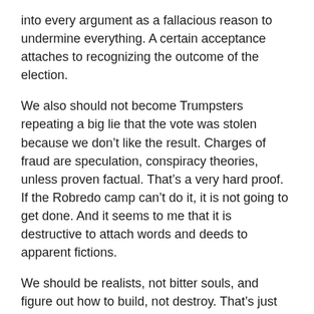into every argument as a fallacious reason to undermine everything. A certain acceptance attaches to recognizing the outcome of the election.
We also should not become Trumpsters repeating a big lie that the vote was stolen because we don’t like the result. Charges of fraud are speculation, conspiracy theories, unless proven factual. That’s a very hard proof. If the Robredo camp can’t do it, it is not going to get done. And it seems to me that it is destructive to attach words and deeds to apparent fictions.
We should be realists, not bitter souls, and figure out how to build, not destroy. That’s just my opinion. You can figure out your own.
Cheers! Stay well.